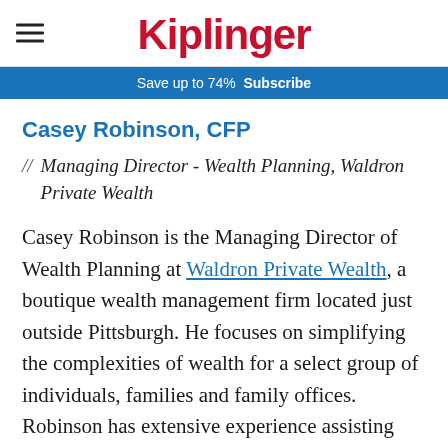Kiplinger
Save up to 74%  Subscribe
Casey Robinson, CFP
// Managing Director - Wealth Planning, Waldron Private Wealth
Casey Robinson is the Managing Director of Wealth Planning at Waldron Private Wealth, a boutique wealth management firm located just outside Pittsburgh. He focuses on simplifying the complexities of wealth for a select group of individuals, families and family offices. Robinson has extensive experience assisting multi-generational